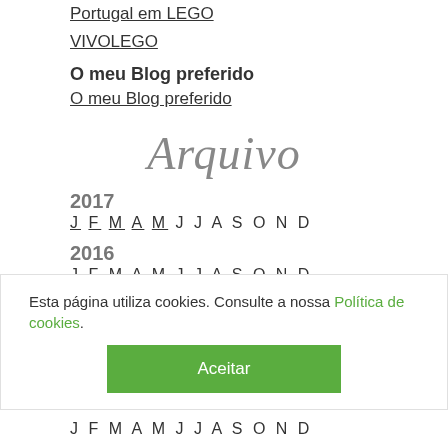Portugal em LEGO
VIVOLEGO
O meu Blog preferido
O meu Blog preferido
Arquivo
2017
J F M A M J J A S O N D
2016
J F M A M J J A S O N D
Esta página utiliza cookies. Consulte a nossa Política de cookies.
Aceitar
J F M A M J J A S O N D